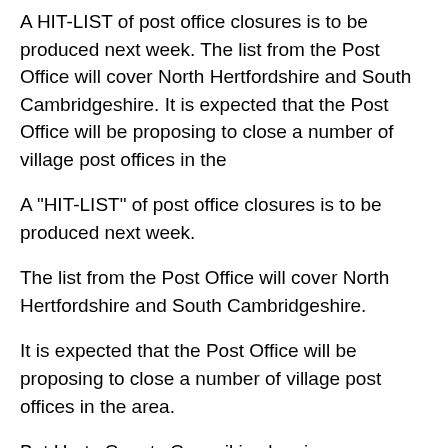A HIT-LIST of post office closures is to be produced next week. The list from the Post Office will cover North Hertfordshire and South Cambridgeshire. It is expected that the Post Office will be proposing to close a number of village post offices in the
A "HIT-LIST" of post office closures is to be produced next week.
The list from the Post Office will cover North Hertfordshire and South Cambridgeshire.
It is expected that the Post Office will be proposing to close a number of village post offices in the area.
But Herts County Council is planning a response to the proposals.
Cllr Richard Roberts, who will be co-ordinating the